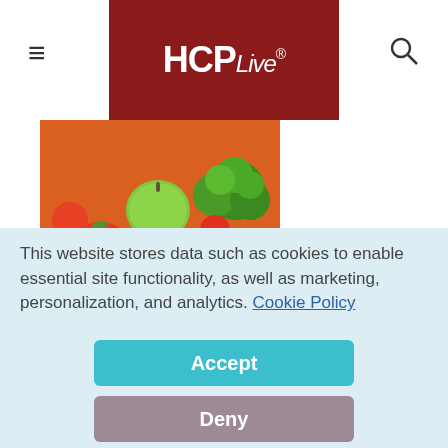HCPLive®
[Figure (photo): Colorful assortment of fresh fruits and vegetables including tomatoes, kiwi, broccoli, apples, peppers, and eggplant]
A diet low in fermentable oligosaccharides,
This website stores data such as cookies to enable essential site functionality, as well as marketing, personalization, and analytics. Cookie Policy
Accept
Deny